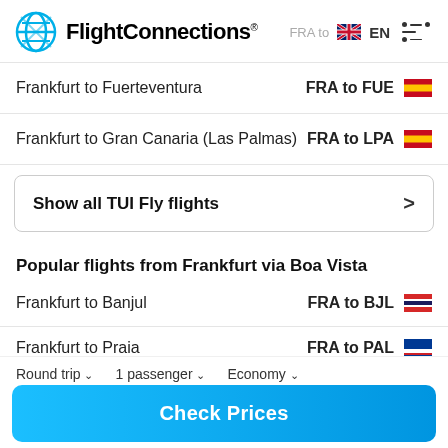FlightConnections — FRA to EN
Frankfurt to Fuerteventura — FRA to FUE
Frankfurt to Gran Canaria (Las Palmas) — FRA to LPA
Show all TUI Fly flights >
Popular flights from Frankfurt via Boa Vista
Frankfurt to Banjul — FRA to BJL
Frankfurt to Praia — FRA to PAL
Round trip  1 passenger  Economy
Check Prices